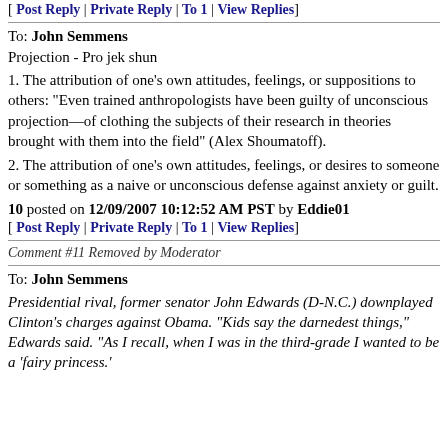[ Post Reply | Private Reply | To 1 | View Replies]
To: John Semmens
Projection - Pro jek shun
1. The attribution of one's own attitudes, feelings, or suppositions to others: "Even trained anthropologists have been guilty of unconscious projection—of clothing the subjects of their research in theories brought with them into the field" (Alex Shoumatoff).
2. The attribution of one's own attitudes, feelings, or desires to someone or something as a naive or unconscious defense against anxiety or guilt.
10 posted on 12/09/2007 10:12:52 AM PST by Eddie01
[ Post Reply | Private Reply | To 1 | View Replies]
Comment #11 Removed by Moderator
To: John Semmens
Presidential rival, former senator John Edwards (D-N.C.) downplayed Clinton's charges against Obama. "Kids say the darnedest things," Edwards said. "As I recall, when I was in the third-grade I wanted to be a 'fairy princess.'